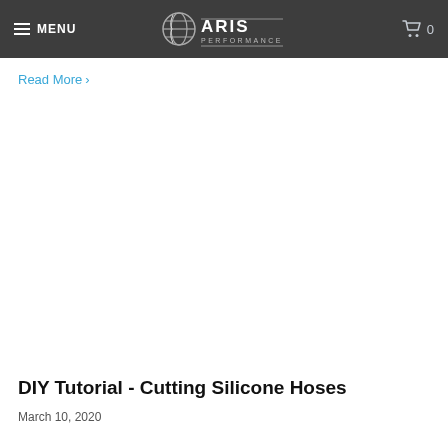MENU  ARIS PERFORMANCE  0
Read More >
DIY Tutorial - Cutting Silicone Hoses
March 10, 2020